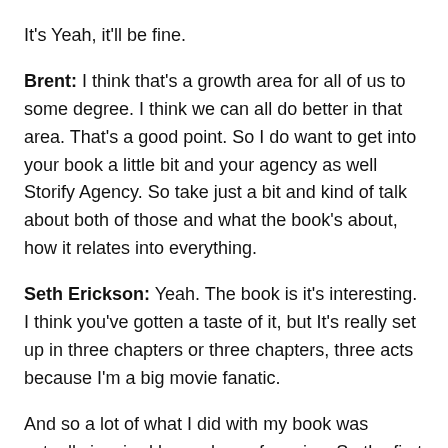It's Yeah, it'll be fine.
Brent: I think that's a growth area for all of us to some degree. I think we can all do better in that area. That's a good point. So I do want to get into your book a little bit and your agency as well Storify Agency. So take just a bit and kind of talk about both of those and what the book's about, how it relates into everything.
Seth Erickson: Yeah. The book is it's interesting. I think you've gotten a taste of it, but It's really set up in three chapters or three chapters, three acts because I'm a big movie fanatic.
And so a lot of what I did with my book was actually inspired by my love of movies. So the first act is really